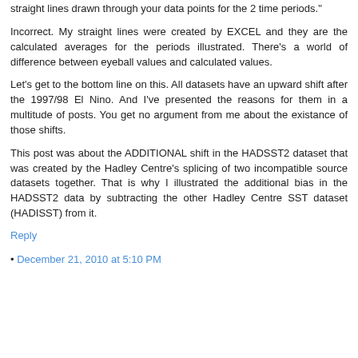straight lines drawn through your data points for the 2 time periods."
Incorrect. My straight lines were created by EXCEL and they are the calculated averages for the periods illustrated. There's a world of difference between eyeball values and calculated values.
Let's get to the bottom line on this. All datasets have an upward shift after the 1997/98 El Nino. And I've presented the reasons for them in a multitude of posts. You get no argument from me about the existance of those shifts.
This post was about the ADDITIONAL shift in the HADSST2 dataset that was created by the Hadley Centre's splicing of two incompatible source datasets together. That is why I illustrated the additional bias in the HADSST2 data by subtracting the other Hadley Centre SST dataset (HADISST) from it.
Reply
December 21, 2010 at 5:10 PM